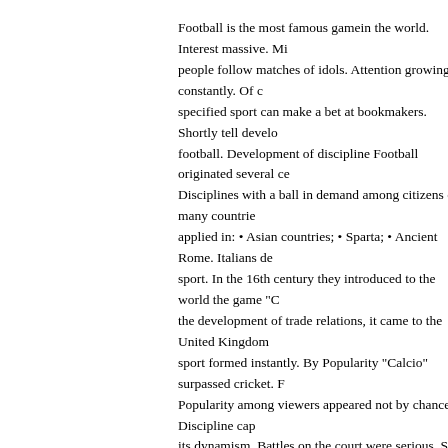Football is the most famous gamein the world. Interest massive. Mi people follow matches of idols. Attention growing constantly. Of c specified sport can make a bet at bookmakers. Shortly tell develo football. Development of discipline Football originated several ce Disciplines with a ball in demand among citizens of many countrie applied in: • Asian countries; • Sparta; • Ancient Rome. Italians de sport. In the 16th century they introduced to the world the game "C the development of trade relations, it came to the United Kingdom sport formed instantly. By Popularity "Calcio" surpassed cricket. F Popularity among viewers appeared not by chance. Discipline cap its dynamism. Battles on the court were serious. Such a scenario a of football: 1. 2 squads. 2. 25 athletes each. 3. 15 forwards. 4. Pe fistfights. Inhabitants of Foggy Albion created own norms. At first g standardized. In some places allowed to throw projectile with han forbidden. The Starting attempt to unification occurred in 1846. C demanded immediate response. Representatives from different c entered the field on the field during the competition. Each player a accordance with known to himnorms. Outcome did not inspire opt However, players were create a common regulations. First unificat out positive. Attention viewers increased. As a result in England fo specialized club. Team renamed "Sheffield". It happened in 1857. formed The Football Association of England. Organization quickly single set of norms games. Phased improvement Gradually the ga